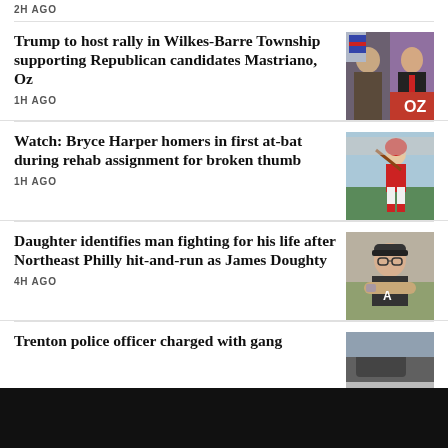2H AGO
Trump to host rally in Wilkes-Barre Township supporting Republican candidates Mastriano, Oz
[Figure (photo): Photo of men at a political event with OZ sign]
1H AGO
Watch: Bryce Harper homers in first at-bat during rehab assignment for broken thumb
[Figure (photo): Photo of Bryce Harper batting in baseball uniform]
1H AGO
Daughter identifies man fighting for his life after Northeast Philly hit-and-run as James Doughty
[Figure (photo): Photo of a man with crossed arms wearing a cap]
4H AGO
Trenton police officer charged with gang